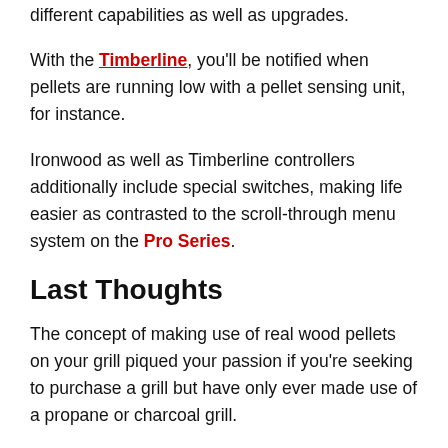different capabilities as well as upgrades.
With the Timberline, you'll be notified when pellets are running low with a pellet sensing unit, for instance.
Ironwood as well as Timberline controllers additionally include special switches, making life easier as contrasted to the scroll-through menu system on the Pro Series.
Last Thoughts
The concept of making use of real wood pellets on your grill piqued your passion if you're seeking to purchase a grill but have only ever made use of a propane or charcoal grill.